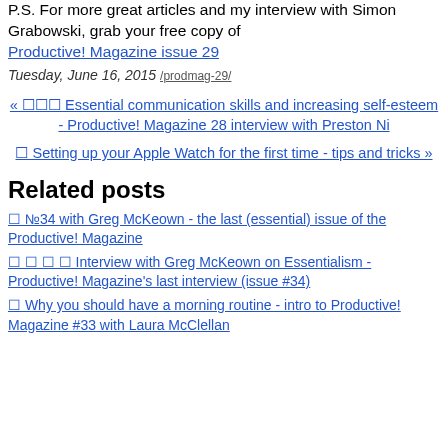P.S. For more great articles and my interview with Simon Grabowski, grab your free copy of Productive! Magazine issue 29
Tuesday, June 16, 2015 /prodmag-29/
« 🔔🔔🔔 Essential communication skills and increasing self-esteem - Productive! Magazine 28 interview with Preston Ni
🔔 Setting up your Apple Watch for the first time - tips and tricks »
Related posts
🔔 №34 with Greg McKeown - the last (essential) issue of the Productive! Magazine
🔔🔔🔔🔔 Interview with Greg McKeown on Essentialism - Productive! Magazine's last interview (issue #34)
🔔 Why you should have a morning routine - intro to Productive! Magazine #33 with Laura McClellan